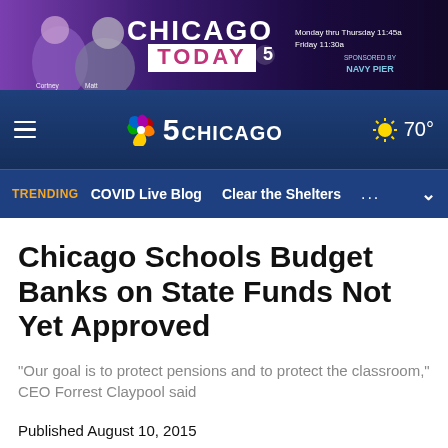[Figure (screenshot): NBC Chicago Today advertisement banner with hosts, purple background, and NBC 5 logo]
NBC 5 CHICAGO — 70°
TRENDING  COVID Live Blog  Clear the Shelters  ...
Chicago Schools Budget Banks on State Funds Not Yet Approved
"Our goal is to protect pensions and to protect the classroom," CEO Forrest Claypool said
Published August 10, 2015